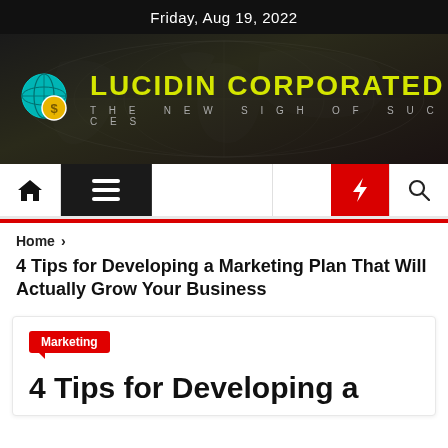Friday, Aug 19, 2022
[Figure (logo): Lucidin Corporated logo with globe icon and tagline 'THE NEW SIGH OF SUCCES' on dark banner background]
[Figure (screenshot): Navigation bar with home icon, hamburger menu, moon icon, lightning bolt (red background), and search icon]
Home > 4 Tips for Developing a Marketing Plan That Will Actually Grow Your Business
4 Tips for Developing a Marketing Plan That Will Actually Grow Your Business
Marketing
4 Tips for Developing a